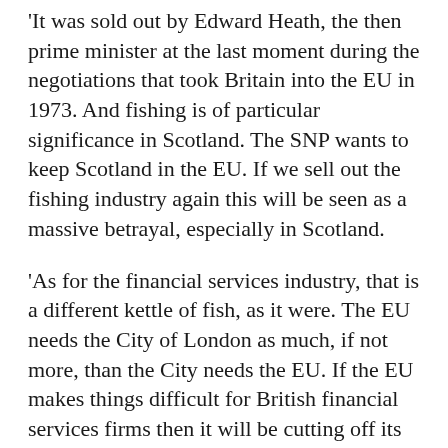'It was sold out by Edward Heath, the then prime minister at the last moment during the negotiations that took Britain into the EU in 1973. And fishing is of particular significance in Scotland. The SNP wants to keep Scotland in the EU. If we sell out the fishing industry again this will be seen as a massive betrayal, especially in Scotland.
'As for the financial services industry, that is a different kettle of fish, as it were. The EU needs the City of London as much, if not more, than the City needs the EU. If the EU makes things difficult for British financial services firms then it will be cutting off its nose to spite its face. Meanwhile, the City will thrive, as it always has done, selling services, including new ones based on fintech, around the world.'
Meanwhile the Prime Minister appears to be